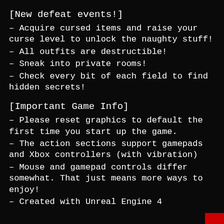[New defeat events!]
– Acquire cursed items and raise your curse level to unlock the naughty stuff!
– All outfits are destructible!
– Sneak into private rooms!
– Check every bit of each field to find hidden secrets!
[Important Game Info]
– Please reset graphics to default the first time you start up the game.
– The action sections support gamepads and Xbox controllers (with vibration)
– Mouse and gamepad controls differ somewhat. That just means more ways to enjoy!
– Created with Unreal Engine 4